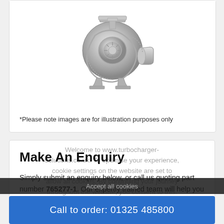[Figure (illustration): Silver turbocharger product photo on white background]
*Please note images are for illustration purposes only
Make An Enquiry
Simply submit an enquiry below, or call us quoting part number 765277-1. Our expertly trained team will help you verify the correct replacement turbocharger. All
Welcome to www.turbocharger-solutions.co.uk. To optimise your experience, cookie settings on the website are set to allow all cookies. By continuing your journey throughout the website, you consent to this.
Learn more
Accept all cookies
Call to order: 01325 485800